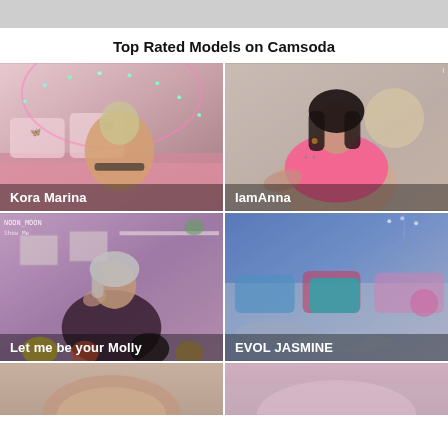Top Rated Models on Camsoda
[Figure (photo): Blonde woman on pink bed with butterfly decorations and fairy lights, viewed from behind]
[Figure (photo): Dark-haired woman in pink top leaning forward, tattooed shoulder visible]
[Figure (photo): Woman in black outfit surrounded by balloons in pink-lit room, text overlay 'NOON_MOON']
[Figure (photo): Empty bed with colorful pillows in blue/purple-lit room]
[Figure (photo): Partial view of person, bottom of page]
[Figure (photo): Partial view, bottom of page]